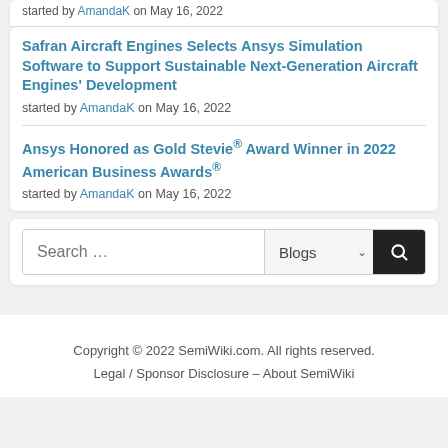started by AmandaK on May 16, 2022
Safran Aircraft Engines Selects Ansys Simulation Software to Support Sustainable Next-Generation Aircraft Engines' Development
started by AmandaK on May 16, 2022
Ansys Honored as Gold Stevie® Award Winner in 2022 American Business Awards®
started by AmandaK on May 16, 2022
Search ...
Copyright © 2022 SemiWiki.com. All rights reserved. Legal / Sponsor Disclosure – About SemiWiki